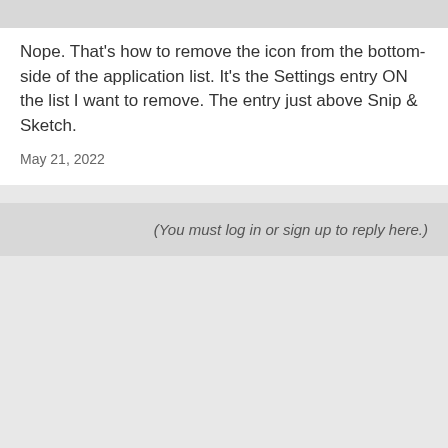Nope. That's how to remove the icon from the bottom-side of the application list. It's the Settings entry ON the list I want to remove. The entry just above Snip & Sketch.
May 21, 2022
(You must log in or sign up to reply here.)